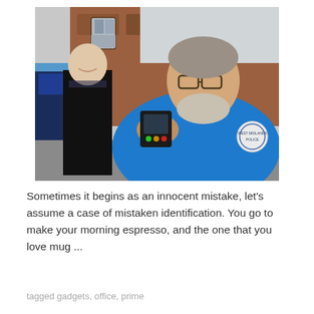[Figure (photo): Two people outdoors in front of a brick building and police car. On the right, a heavyset man with glasses and a grey beard wearing a bright blue West Midlands Police jacket holds up a small electronic device toward the camera. On the left, a man in a black police uniform stands smiling in the background.]
Sometimes it begins as an innocent mistake, let's assume a case of mistaken identification. You go to make your morning espresso, and the one that you love mug ...
tagged gadgets, office, prime